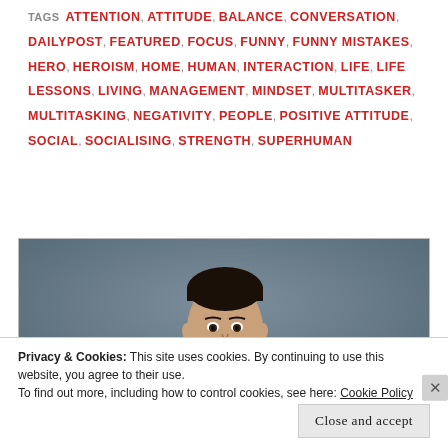TAGS  ATTENTION, ATTITUDE, BALANCE, CONVERSATION, DAILYPOST, FEATURED, FOCUS, FUNNY, FUNNY MISTAKES, HERO, HEROISM, HOME, HUMAN, INTERACTION, LIFE, LIFE LESSONS, LIVING, MANAGEMENT, MINDSET, MULTITASKER, MULTITASKING, NEGATIVITY, PEOPLE, POSITIVE ATTITUDE, SOCIAL, SOCIALISING, STRENGTH, SUPERHUMAN
[Figure (photo): A young man's face and upper body visible against a grey/blue studio background, photographed from slightly below, looking straight at the camera.]
Privacy & Cookies: This site uses cookies. By continuing to use this website, you agree to their use.
To find out more, including how to control cookies, see here: Cookie Policy